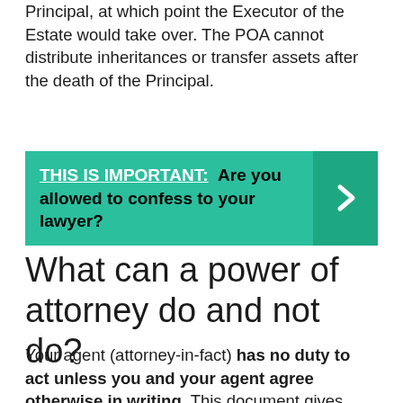Principal, at which point the Executor of the Estate would take over. The POA cannot distribute inheritances or transfer assets after the death of the Principal.
[Figure (infographic): Teal/green callout banner with bold text: THIS IS IMPORTANT: Are you allowed to confess to your lawyer? with a right-arrow chevron on the right side on a darker teal background.]
What can a power of attorney do and not do?
Your agent (attorney-in-fact) has no duty to act unless you and your agent agree otherwise in writing. This document gives your agent the powers to manage, dispose of, sell, and convey your real and personal property, and to use your property as